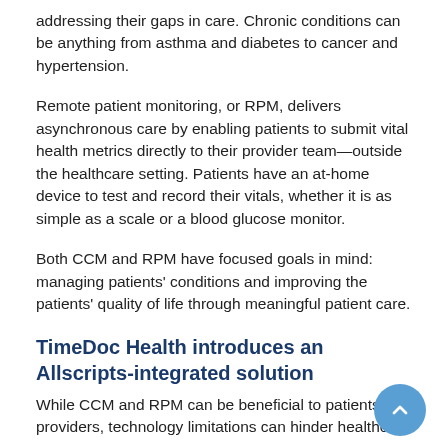addressing their gaps in care. Chronic conditions can be anything from asthma and diabetes to cancer and hypertension.
Remote patient monitoring, or RPM, delivers asynchronous care by enabling patients to submit vital health metrics directly to their provider team—outside the healthcare setting. Patients have an at-home device to test and record their vitals, whether it is as simple as a scale or a blood glucose monitor.
Both CCM and RPM have focused goals in mind: managing patients' conditions and improving the patients' quality of life through meaningful patient care.
TimeDoc Health introduces an Allscripts-integrated solution
While CCM and RPM can be beneficial to patients and providers, technology limitations can hinder healthcare